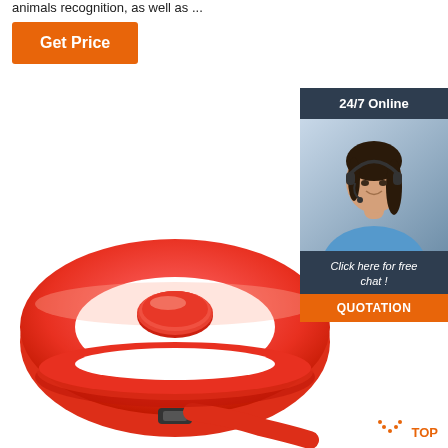animals recognition, as well as ...
Get Price
[Figure (infographic): 24/7 Online chat widget with photo of woman wearing headset, 'Click here for free chat!' text, and orange QUOTATION button]
[Figure (photo): Red silicone RFID wristband with oval chip housing, adjustable clasp, photographed on white background]
TOP